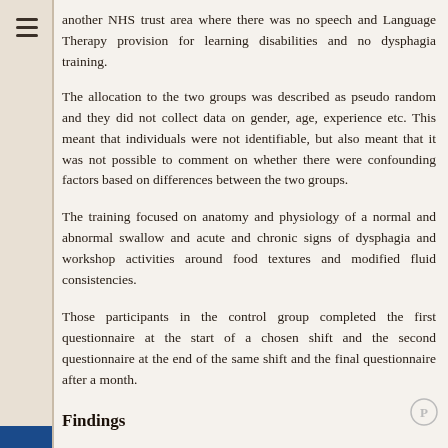another NHS trust area where there was no speech and Language Therapy provision for learning disabilities and no dysphagia training.
The allocation to the two groups was described as pseudo random and they did not collect data on gender, age, experience etc. This meant that individuals were not identifiable, but also meant that it was not possible to comment on whether there were confounding factors based on differences between the two groups.
The training focused on anatomy and physiology of a normal and abnormal swallow and acute and chronic signs of dysphagia and workshop activities around food textures and modified fluid consistencies.
Those participants in the control group completed the first questionnaire at the start of a chosen shift and the second questionnaire at the end of the same shift and the final questionnaire after a month.
Findings